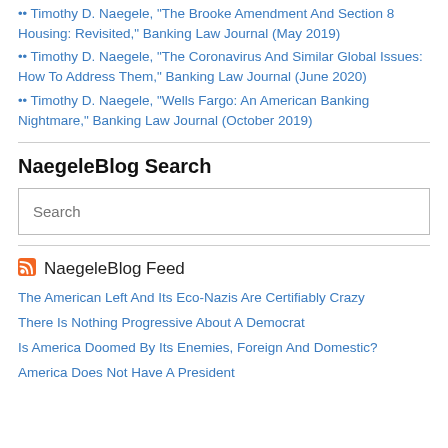•• Timothy D. Naegele, "The Brooke Amendment And Section 8 Housing: Revisited," Banking Law Journal (May 2019)
•• Timothy D. Naegele, "The Coronavirus And Similar Global Issues: How To Address Them," Banking Law Journal (June 2020)
•• Timothy D. Naegele, "Wells Fargo: An American Banking Nightmare," Banking Law Journal (October 2019)
NaegeleBlog Search
Search
NaegeleBlog Feed
The American Left And Its Eco-Nazis Are Certifiably Crazy
There Is Nothing Progressive About A Democrat
Is America Doomed By Its Enemies, Foreign And Domestic?
America Does Not Have A President